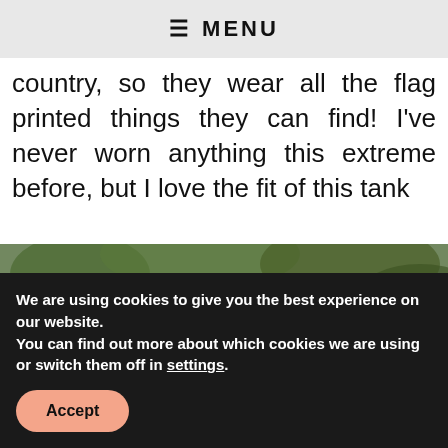MENU
country, so they wear all the flag printed things they can find! I've never worn anything this extreme before, but I love the fit of this tank
[Figure (photo): Outdoor photo showing person(s) in front of green foliage, partially obscured by newsletter popup overlay]
Subscribe to our Newsletter
Sign up for our newsletter and get our latest updates!
[Email Address input] [Subscribe button]
Powered by MiloTree  X CLOSE
We are using cookies to give you the best experience on our website.
You can find out more about which cookies we are using or switch them off in settings.
[Accept button]